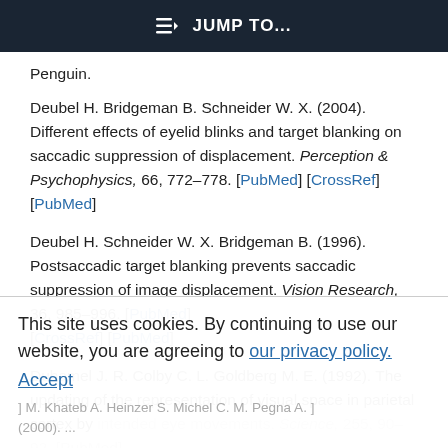JUMP TO...
Penguin.
Deubel H. Bridgeman B. Schneider W. X. (2004). Different effects of eyelid blinks and target blanking on saccadic suppression of displacement. Perception & Psychophysics, 66, 772–778. [PubMed] [CrossRef] [PubMed]
Deubel H. Schneider W. X. Bridgeman B. (1996). Postsaccadic target blanking prevents saccadic suppression of image displacement. Vision Research, 36, 985–996. [PubMed] [CrossRef] [PubMed]
Duhamel J. R. Colby C. L. Goldberg M. E. (1992). The updating of the representation of visual space in parietal cortex by intended eye movements. Science, 255, 90–92. [PubMed] [CrossRef] [PubMed]
This site uses cookies. By continuing to use our website, you are agreeing to our privacy policy. Accept
... M. Khateb A. Heinzer S. Michel C. M. Pegna A. J. (2000). ...